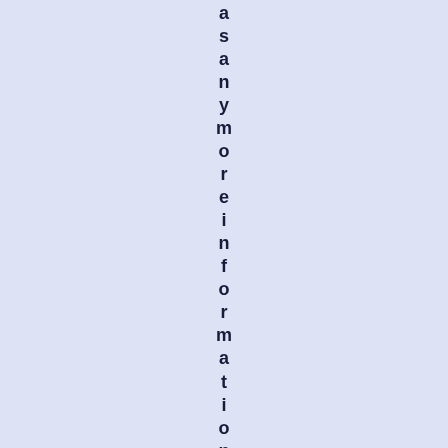as any more information about this f